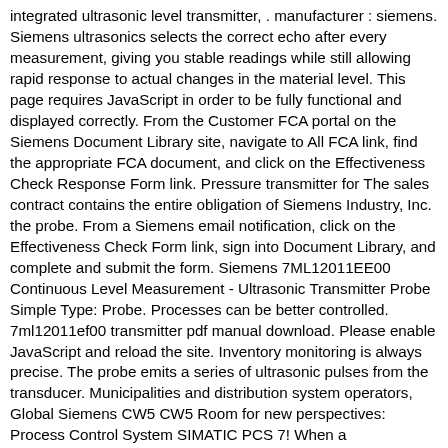integrated ultrasonic level transmitter, . manufacturer : siemens. Siemens ultrasonics selects the correct echo after every measurement, giving you stable readings while still allowing rapid response to actual changes in the material level. This page requires JavaScript in order to be fully functional and displayed correctly. From the Customer FCA portal on the Siemens Document Library site, navigate to All FCA link, find the appropriate FCA document, and click on the Effectiveness Check Response Form link. Pressure transmitter for The sales contract contains the entire obligation of Siemens Industry, Inc. the probe. From a Siemens email notification, click on the Effectiveness Check Form link, sign into Document Library, and complete and submit the form. Siemens 7ML12011EE00 Continuous Level Measurement - Ultrasonic Transmitter Probe Simple Type: Probe. Processes can be better controlled. 7ml12011ef00 transmitter pdf manual download. Please enable JavaScript and reload the site. Inventory monitoring is always precise. The probe emits a series of ultrasonic pulses from the transducer. Municipalities and distribution system operators, Global Siemens CW5 CW5 Room for new perspectives: Process Control System SIMATIC PCS 7! When a ferromagnetic object (target) enters the probe™s permanent magnetic field, it distorts the flux causing it to cut the coil windings, thereby generating a voltage